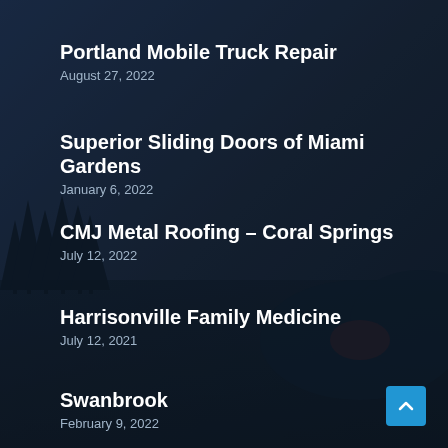Portland Mobile Truck Repair
August 27, 2022
Superior Sliding Doors of Miami Gardens
January 6, 2022
CMJ Metal Roofing – Coral Springs
July 12, 2022
Harrisonville Family Medicine
July 12, 2021
Swanbrook
February 9, 2022